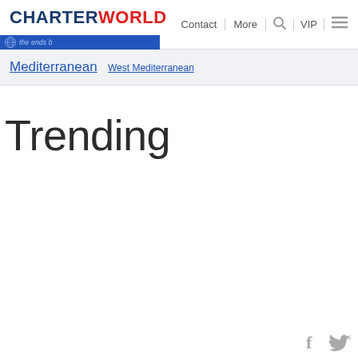CHARTER WORLD | Contact | More | VIP
Mediterranean  West Mediterranean
Trending
[Figure (logo): Facebook and Twitter social media icons at bottom right]